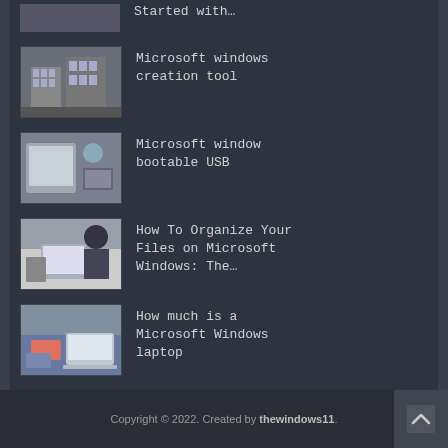Started with…
Microsoft windows creation tool
Microsoft window bootable USB
How To Organize Your Files on Microsoft Windows: The…
How much is a Microsoft Windows laptop
Copyright © 2022. Created by thewindows11.